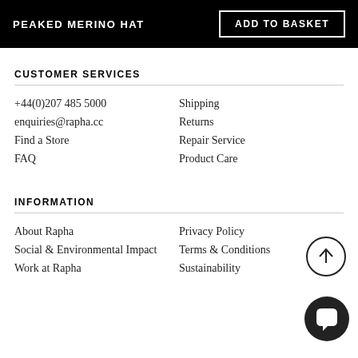PEAKED MERINO HAT
ADD TO BASKET
CUSTOMER SERVICES
+44(0)207 485 5000
Shipping
enquiries@rapha.cc
Returns
Find a Store
Repair Service
FAQ
Product Care
[Figure (illustration): Scroll to top arrow button - circle with upward arrow]
INFORMATION
About Rapha
Privacy Policy
Social & Environmental Impact
Terms & Conditions
Work at Rapha
Sustainability
[Figure (illustration): Live chat button - dark circle with speech bubble icon]